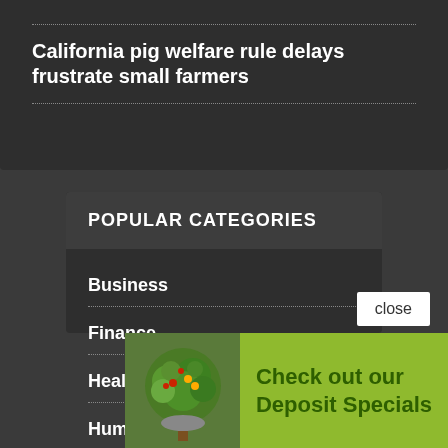California pig welfare rule delays frustrate small farmers
POPULAR CATEGORIES
Business
Finance
Health
Human Resources
close
Check out our Deposit Specials